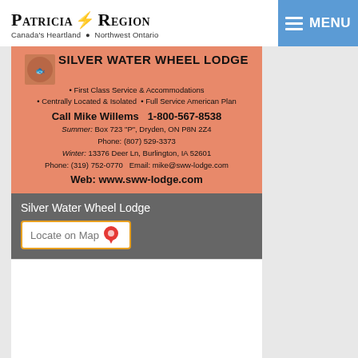Patricia Region — Canada's Heartland • Northwest Ontario
[Figure (screenshot): Patricia Region website header with logo, maple leaf, and blue MENU button]
SILVER WATER WHEEL LODGE • First Class Service & Accommodations • Centrally Located & Isolated • Full Service American Plan Call Mike Willems 1-800-567-8538 Summer: Box 723 "P", Dryden, ON P8N 2Z4 Phone: (807) 529-3373 Winter: 13376 Deer Ln, Burlington, IA 52601 Phone: (319) 752-0770 Email: mike@sww-lodge.com Web: www.sww-lodge.com
Silver Water Wheel Lodge
Locate on Map